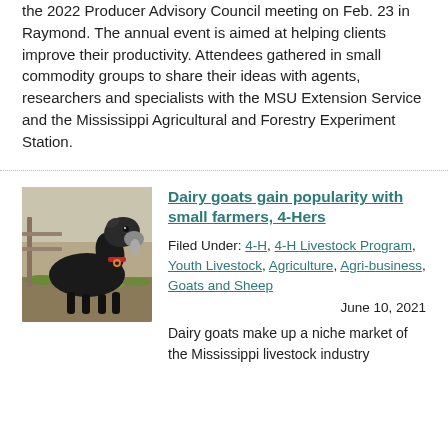the 2022 Producer Advisory Council meeting on Feb. 23 in Raymond. The annual event is aimed at helping clients improve their productivity. Attendees gathered in small commodity groups to share their ideas with agents, researchers and specialists with the MSU Extension Service and the Mississippi Agricultural and Forestry Experiment Station.
[Figure (photo): A black and brown dairy goat facing left, outdoors, wearing a red collar, with a fence and grass visible in the background.]
Dairy goats gain popularity with small farmers, 4-Hers
Filed Under: 4-H, 4-H Livestock Program, Youth Livestock, Agriculture, Agri-business, Goats and Sheep      June 10, 2021
Dairy goats make up a niche market of the Mississippi livestock industry